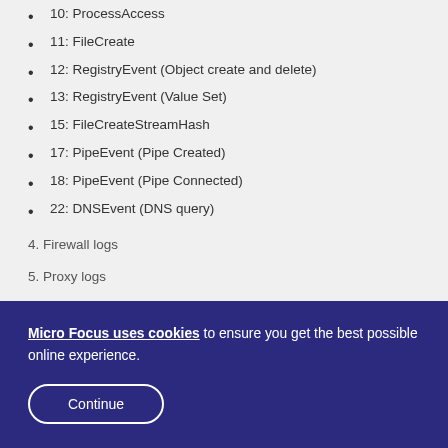10: ProcessAccess
11: FileCreate
12: RegistryEvent (Object create and delete)
13: RegistryEvent (Value Set)
15: FileCreateStreamHash
17: PipeEvent (Pipe Created)
18: PipeEvent (Pipe Connected)
22: DNSEvent (DNS query)
4. Firewall logs
5. Proxy logs
Micro Focus uses cookies to ensure you get the best possible online experience.
Continue